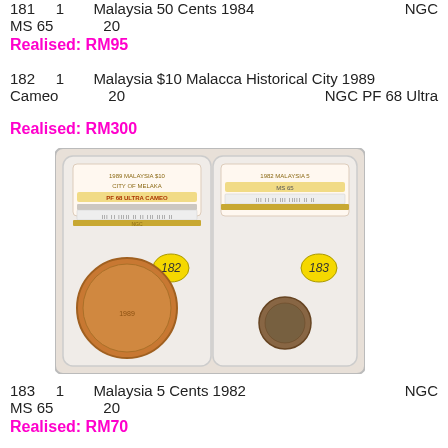181   1     Malaysia 50 Cents 1984   NGC MS 65   20
Realised: RM95
182   1     Malaysia $10 Malacca Historical City 1989   NGC PF 68 Ultra Cameo   20
Realised: RM300
[Figure (photo): Two NGC-graded coins in slabs side by side: lot 182 (1989 Malaysia $10 City of Melaka, PF 68 Ultra Cameo) and lot 183 (1982 Malaysia 5 Cents, MS 65), with yellow lot number stickers.]
183   1     Malaysia 5 Cents 1982   NGC MS 65   20
Realised: RM70